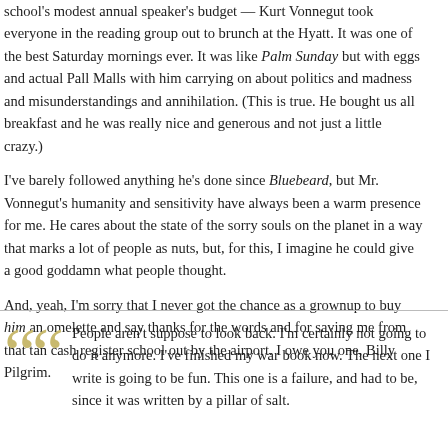school's modest annual speaker's budget — Kurt Vonnegut took everyone in the reading group out to brunch at the Hyatt. It was one of the best Saturday mornings ever. It was like Palm Sunday but with eggs and actual Pall Malls with him carrying on about politics and madness and misunderstandings and annihilation. (This is true. He bought us all breakfast and he was really nice and generous and not just a little crazy.)
I've barely followed anything he's done since Bluebeard, but Mr. Vonnegut's humanity and sensitivity have always been a warm presence for me. He cares about the state of the sorry souls on the planet in a way that marks a lot of people as nuts, but, for this, I imagine he could give a good goddamn what people thought.
And, yeah, I'm sorry that I never got the chance as a grownup to buy him an omelette and say thanks for the words and for saving me from that tan cash register school out by the airport. I owe you one, Billy Pilgrim.
People aren't suppose to look back. I'm certainly not going to do it anymore. I've finished my war book now. The next one I write is going to be fun. This one is a failure, and had to be, since it was written by a pillar of salt. — Billy Pilgrim (a.k.a. Kurt Vonnegut)